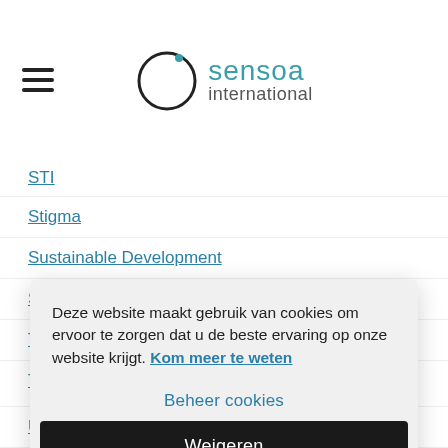[Figure (logo): Sensoa International logo with circular icon and teal/grey text]
STI
Stigma
Sustainable Development
SWOP
Teenage Pregnancies
The Philippines (partially visible)
Deze website maakt gebruik van cookies om ervoor te zorgen dat u de beste ervaring op onze website krijgt. Kom meer te weten
Beheer cookies
Weigeren
Alles toestaan
Urbanization